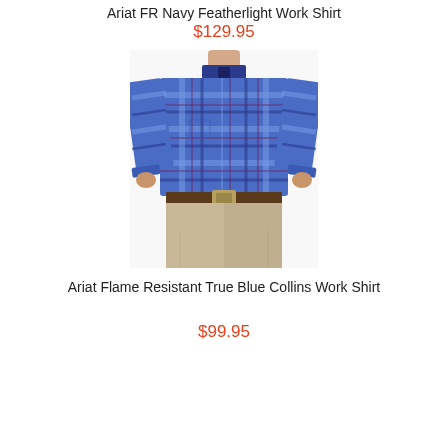Ariat FR Navy Featherlight Work Shirt
$129.95
[Figure (photo): Man wearing a blue plaid long-sleeve button-up shirt with khaki pants and a brown belt, shown from the chest down to the knee.]
Ariat Flame Resistant True Blue Collins Work Shirt
$99.95